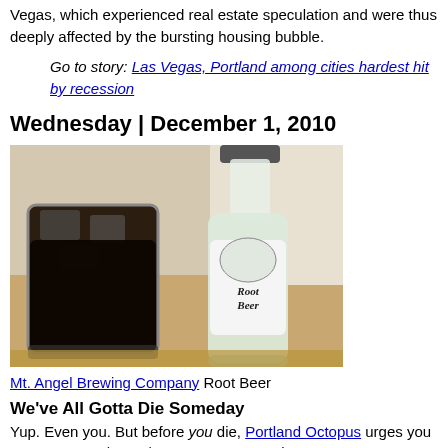Vegas, which experienced real estate speculation and were thus deeply affected by the bursting housing bubble.
Go to story: Las Vegas, Portland among cities hardest hit by recession
Wednesday | December 1, 2010
[Figure (photo): Photo of Mt. Angel Brewing Company Root Beer bottle next to a glass of root beer with ice on a table]
Mt. Angel Brewing Company Root Beer
We've All Gotta Die Someday
Yup. Even you. But before you die, Portland Octopus urges you to try Mt. Angel Brewing Company's root beer.